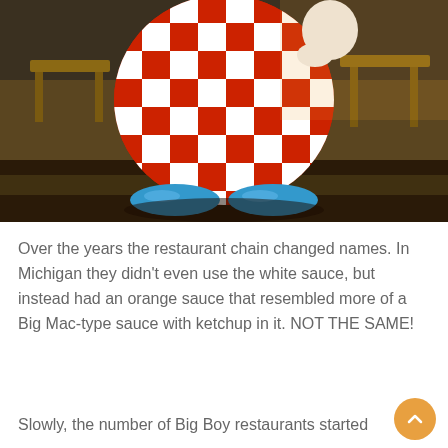[Figure (photo): Photo of a Big Boy restaurant mascot statue showing the lower body in a red and white checkerboard outfit with blue shoes, seated on a platform outdoors]
Over the years the restaurant chain changed names. In Michigan they didn't even use the white sauce, but instead had an orange sauce that resembled more of a Big Mac-type sauce with ketchup in it. NOT THE SAME!
Slowly, the number of Big Boy restaurants started